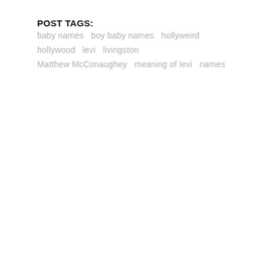POST TAGS:
baby names   boy baby names   hollyweird   hollywood   levi   livingston   Matthew McConaughey   meaning of levi   names